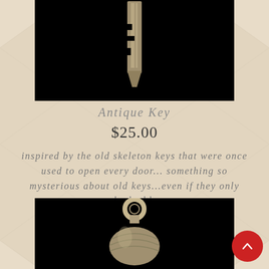[Figure (photo): Close-up photo of an antique/skeleton key blade against a black background]
Antique Key
$25.00
inspired by the old skeleton keys that were once used to open every door... something so mysterious about old keys...even if they only look old.
[Figure (illustration): Three black circular action buttons: shopping cart, heart/wishlist, and eye/view icons]
[Figure (photo): Close-up photo of a metallic bell charm with decorative engravings against a black background]
[Figure (illustration): Red circular back-to-top button with upward chevron arrow]